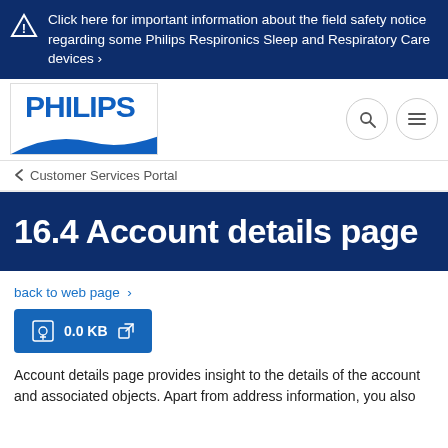Click here for important information about the field safety notice regarding some Philips Respironics Sleep and Respiratory Care devices ›
[Figure (logo): Philips logo in blue text on white background with wave design element]
< Customer Services Portal
16.4 Account details page
back to web page ›
[Figure (other): Download button showing 0.0 KB with download and external link icons]
Account details page provides insight to the details of the account and associated objects. Apart from address information, you also